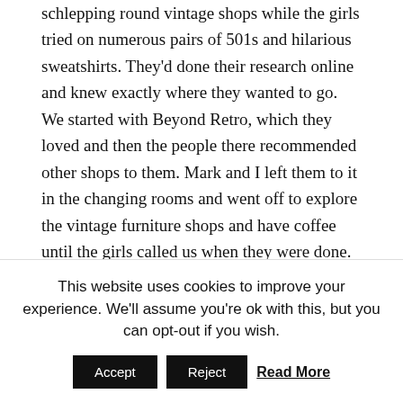schlepping round vintage shops while the girls tried on numerous pairs of 501s and hilarious sweatshirts. They'd done their research online and knew exactly where they wanted to go. We started with Beyond Retro, which they loved and then the people there recommended other shops to them. Mark and I left them to it in the changing rooms and went off to explore the vintage furniture shops and have coffee until the girls called us when they were done.
They had a very successful shopping session: Levi 501s (should have kept mine!), American college
This website uses cookies to improve your experience. We'll assume you're ok with this, but you can opt-out if you wish.